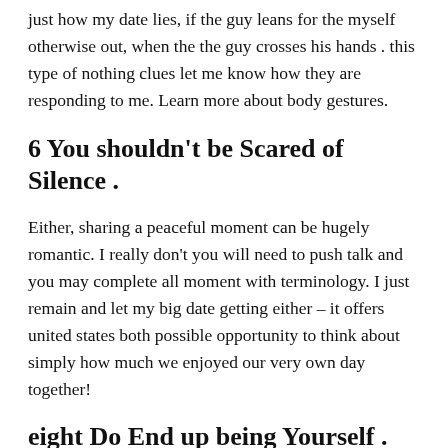just how my date lies, if the guy leans for the myself otherwise out, when the the guy crosses his hands . this type of nothing clues let me know how they are responding to me. Learn more about body gestures.
6 You shouldn’t be Scared of Silence .
Either, sharing a peaceful moment can be hugely romantic. I really don’t you will need to push talk and you may complete all moment with terminology. I just remain and let my big date getting either – it offers united states both possible opportunity to think about simply how much we enjoyed our very own day together!
eight Do End up being Yourself .
If you prefer this relationship to end up being much time-long-lasting, you need to allow your big date familiarize yourself with